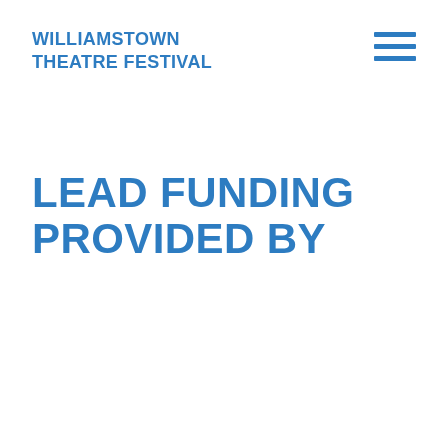WILLIAMSTOWN THEATRE FESTIVAL
LEAD FUNDING PROVIDED BY